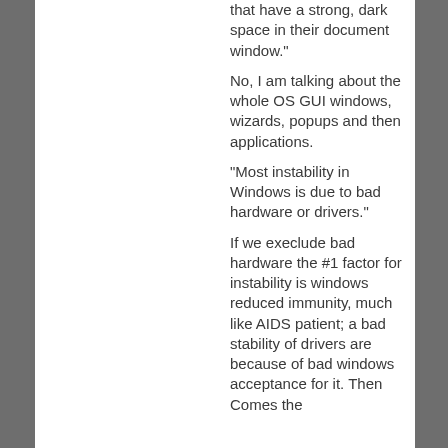that have a strong, dark space in their document window."
No, I am talking about the whole OS GUI windows, wizards, popups and then applications.
"Most instability in Windows is due to bad hardware or drivers."
If we execlude bad hardware the #1 factor for instability is windows reduced immunity, much like AIDS patient; a bad stability of drivers are because of bad windows acceptance for it. Then Comes the